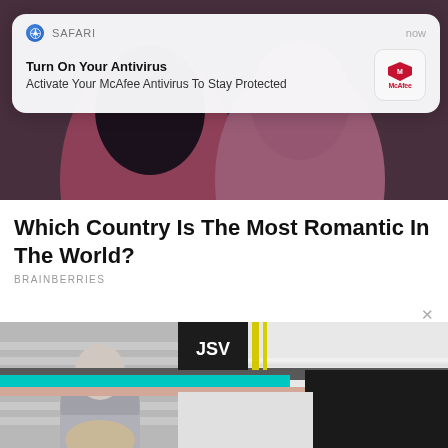[Figure (screenshot): Safari browser notification popup with McAfee antivirus advertisement over a mobile webpage showing a couple photo]
Turn On Your Antivirus
Activate Your McAfee Antivirus To Stay Protected
[Figure (photo): Photo of two people in pink/dark clothing]
Which Country Is The Most Romantic In The World?
BRAINBERRIES
[Figure (screenshot): Glitched/corrupted advertisement area with JSV text box, colored bars and panels]